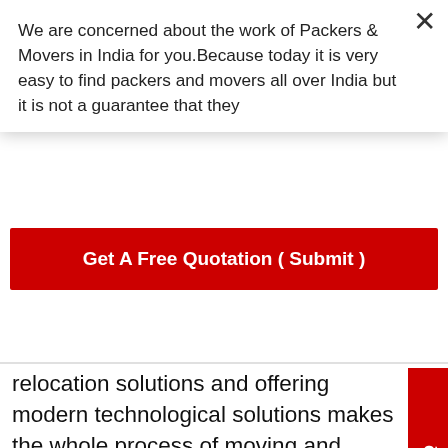We are concerned about the work of Packers & Movers in India for you.Because today it is very easy to find packers and movers all over India but it is not a guarantee that they
[Figure (other): Red CTA button labeled 'Get A Free Quotation ( Submit )']
relocation solutions and offering modern technological solutions makes the whole process of moving and tracking couriers for you.
[Figure (other): Red vertical side tab with text 'Get FREE Q']
Additionally, this reduces the probability of fraud and charges of hidden fees. We provide ium courier services from Delhi to nai at low prices, you can fill out a simple form, and we will give you a free ate.
[Figure (other): Orange circle phone/call icon]
[Figure (other): Green WhatsApp icon circle]
courier services from Delhi to Chennai reduce the time it takes to move products from one location to another. Save your time